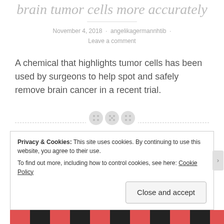brain tumor cells more accurately
November 4, 2018 · angelikagermannhtib · Leave a comment
A chemical that highlights tumor cells has been used by surgeons to help spot and safely remove brain cancer in a recent trial.
Privacy & Cookies: This site uses cookies. By continuing to use this website, you agree to their use. To find out more, including how to control cookies, see here: Cookie Policy